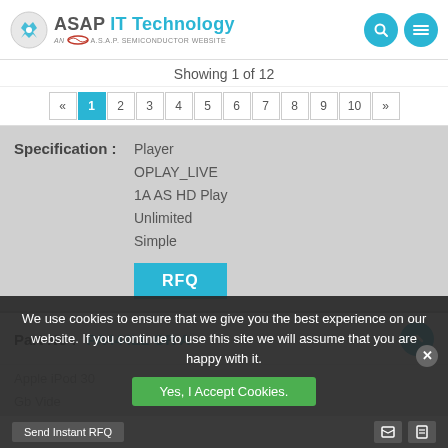[Figure (logo): ASAP IT Technology logo with gear icon and 'AN A.S.A.P. SEMICONDUCTOR WEBSITE' tagline]
Showing 1 of 12
« 1 2 3 4 5 6 7 8 9 10 »
| Specification : | Value |
| --- | --- |
| Specification : | Player
OPLAY_LIVE
1A AS HD Play
Unlimited
Simple |
RFQ
Part No : PA444LL OR A
Apple iPod 30
Gb Vide
Whi...
We use cookies to ensure that we give you the best experience on our website. If you continue to use this site we will assume that you are happy with it.
Yes, I Accept Cookies.
Send Instant RFQ